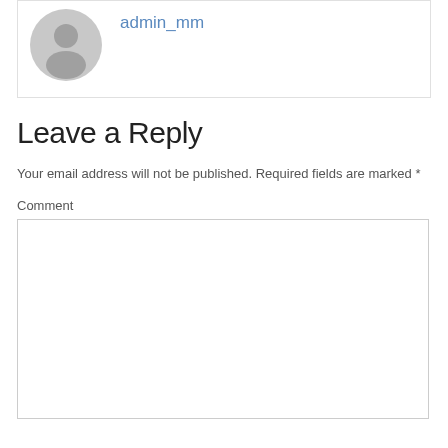[Figure (illustration): User avatar placeholder — grey silhouette of a person in a circle]
admin_mm
Leave a Reply
Your email address will not be published. Required fields are marked *
Comment
[Figure (other): Empty comment text area input box]